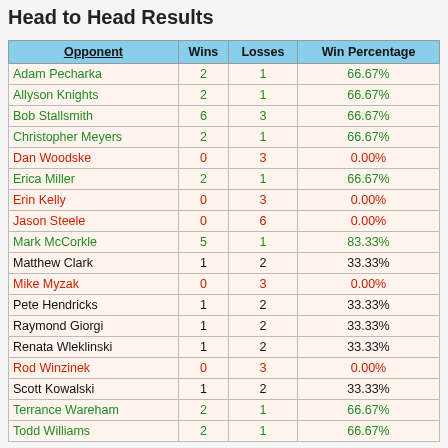Head to Head Results
| Opponent | Wins | Losses | Win Percentage |
| --- | --- | --- | --- |
| Adam Pecharka | 2 | 1 | 66.67% |
| Allyson Knights | 2 | 1 | 66.67% |
| Bob Stallsmith | 6 | 3 | 66.67% |
| Christopher Meyers | 2 | 1 | 66.67% |
| Dan Woodske | 0 | 3 | 0.00% |
| Erica Miller | 2 | 1 | 66.67% |
| Erin Kelly | 0 | 3 | 0.00% |
| Jason Steele | 0 | 6 | 0.00% |
| Mark McCorkle | 5 | 1 | 83.33% |
| Matthew Clark | 1 | 2 | 33.33% |
| Mike Myzak | 0 | 3 | 0.00% |
| Pete Hendricks | 1 | 2 | 33.33% |
| Raymond Giorgi | 1 | 2 | 33.33% |
| Renata Wleklinski | 1 | 2 | 33.33% |
| Rod Winzinek | 0 | 3 | 0.00% |
| Scott Kowalski | 1 | 2 | 33.33% |
| Terrance Wareham | 2 | 1 | 66.67% |
| Todd Williams | 2 | 1 | 66.67% |